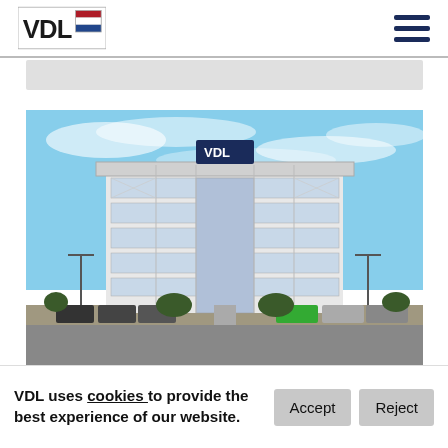VDL logo and navigation
[Figure (photo): VDL headquarters building - a modern multi-story office building with glass facade, VDL logo on roof, cars parked in front, blue sky with light clouds]
VDL uses cookies to provide the best experience of our website.